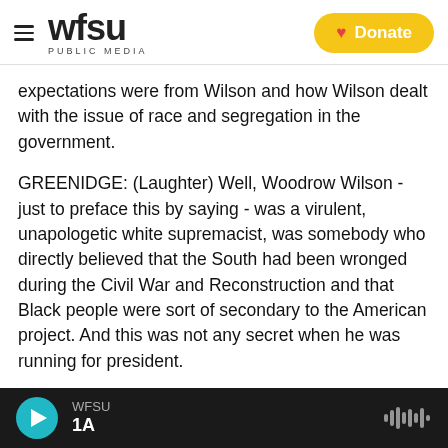WFSU PUBLIC MEDIA | Donate
expectations were from Wilson and how Wilson dealt with the issue of race and segregation in the government.
GREENIDGE: (Laughter) Well, Woodrow Wilson - just to preface this by saying - was a virulent, unapologetic white supremacist, was somebody who directly believed that the South had been wronged during the Civil War and Reconstruction and that Black people were sort of secondary to the American project. And this was not any secret when he was running for president.
WFSU 1A